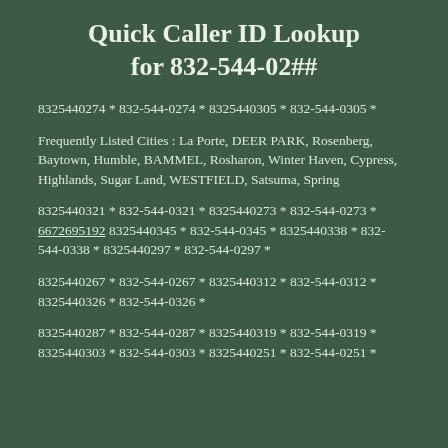Quick Caller ID Lookup for 832-544-02##
8325440274 * 832-544-0274 * 8325440305 * 832-544-0305 *
Frequently Listed Cities : La Porte, DEER PARK, Rosenberg, Baytown, Humble, BAMMEL, Rosharon, Winter Haven, Cypress, Highlands, Sugar Land, WESTFIELD, Satsuma, Spring
8325440321 * 832-544-0321 * 8325440273 * 832-544-0273 * 6672695192 8325440345 * 832-544-0345 * 8325440338 * 832-544-0338 * 8325440297 * 832-544-0297 *
8325440267 * 832-544-0267 * 8325440312 * 832-544-0312 * 8325440326 * 832-544-0326 *
8325440287 * 832-544-0287 * 8325440319 * 832-544-0319 * 8325440303 * 832-544-0303 * 8325440251 * 832-544-0251 *